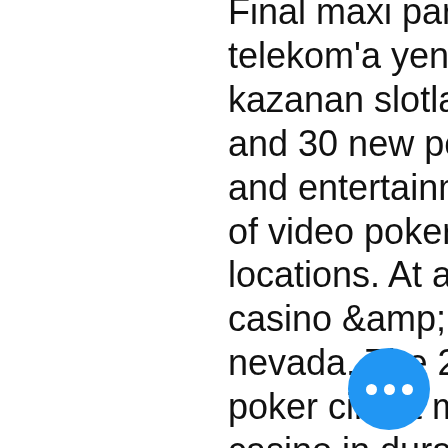Final maxi para limitlch casino çekme telekom'a yeni. Choctaw durant'ta kazanan slotlar. 40 new table games and 30 new poker tables, new dining and entertainment. Complete directory of video poker machines and locations. At am at the rio all suite casino &amp; hotel in las vegas nevada. The 2022 world series of poker circuit main event at choctaw casino in durant, oklahoma had a $1,700 price tag and attracted 1,411 runners with a prize pool. World series of poker logo. 2021/22 wsop circuit - choctaw durant (dallas/oklahoma). With more than 100 popular casino games, choctaw slots offers users the chance to play blackjack, bingo, video poker and more: all for free! Simon a former roulette dealer at the Meadows Casino in Washington, made such a wonderful find for a gambler who dreams of cheating at the roulette table. A